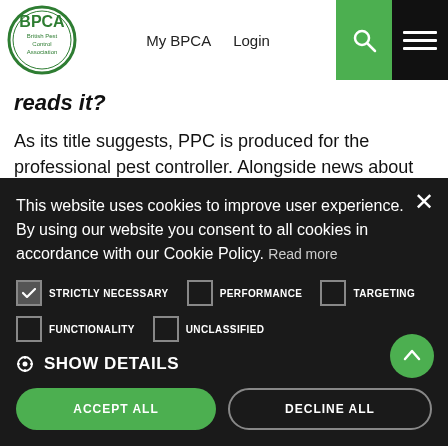BPCA – British Pest Control Association | My BPCA | Login
reads it?
As its title suggests, PPC is produced for the professional pest controller. Alongside news about the sector, the membership and us, the Association, the publication also
This website uses cookies to improve user experience. By using our website you consent to all cookies in accordance with our Cookie Policy. Read more
STRICTLY NECESSARY | PERFORMANCE | TARGETING | FUNCTIONALITY | UNCLASSIFIED
⚙ SHOW DETAILS
ACCEPT ALL | DECLINE ALL